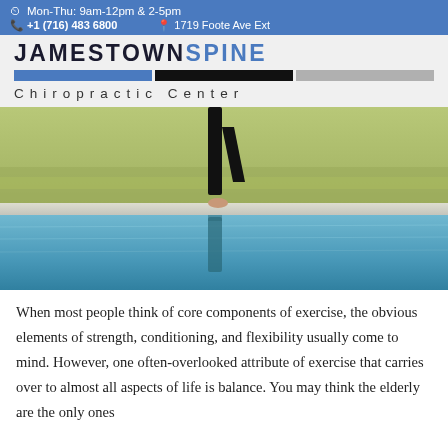Mon-Thu: 9am-12pm & 2-5pm
+1 (716) 483 6800   1719 Foote Ave Ext
JAMESTOWNSPINE Chiropractic Center
[Figure (photo): Person balancing on one leg at the edge of a pool, reflecting in the water below, with a field in the background.]
When most people think of core components of exercise, the obvious elements of strength, conditioning, and flexibility usually come to mind. However, one often-overlooked attribute of exercise that carries over to almost all aspects of life is balance. You may think the elderly are the only ones